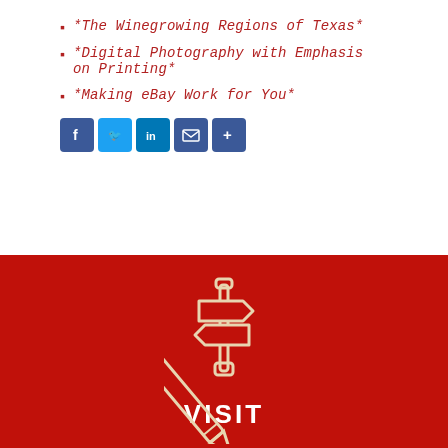*The Winegrowing Regions of Texas*
*Digital Photography with Emphasis on Printing*
*Making eBay Work for You*
[Figure (infographic): Social media sharing icons: Facebook (blue), Twitter (light blue), LinkedIn (blue), Email (dark blue), Share (dark blue)]
[Figure (illustration): Road sign / directional sign post icon in light tan/cream outline on dark red background, with the word VISIT below in white bold text]
[Figure (illustration): Pencil icon in light tan/cream outline on dark red background, partially visible at bottom of page]